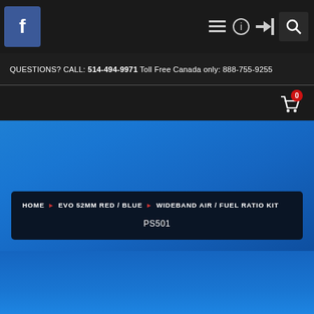QUESTIONS? CALL: 514-494-9971 Toll Free Canada only: 888-755-9255
[Figure (screenshot): Website header with Facebook icon, navigation hamburger menu, info icon, login icon, search icon, and shopping cart with badge showing 0]
HOME ▶ EVO 52MM RED / BLUE ▶ WIDEBAND AIR / FUEL RATIO KIT
PS501